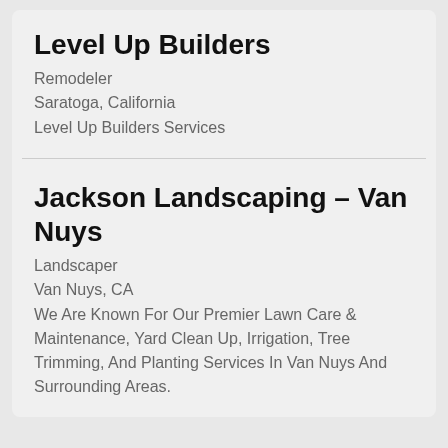Level Up Builders
Remodeler
Saratoga, California
Level Up Builders Services
Jackson Landscaping – Van Nuys
Landscaper
Van Nuys, CA
We Are Known For Our Premier Lawn Care & Maintenance, Yard Clean Up, Irrigation, Tree Trimming, And Planting Services In Van Nuys And Surrounding Areas.